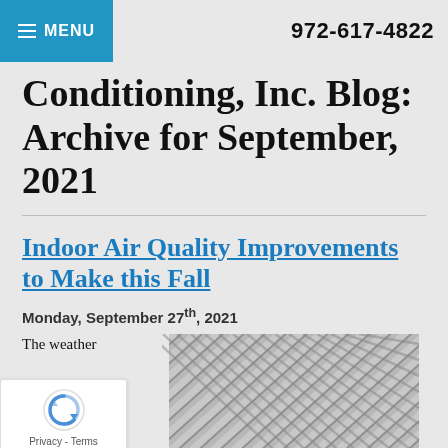MENU | 972-617-4822
Conditioning, Inc. Blog: Archive for September, 2021
Indoor Air Quality Improvements to Make this Fall
Monday, September 27th, 2021
The weather ... to cool off and
[Figure (photo): Close-up photo of HVAC air filter vents/grill with diagonal parallel slats]